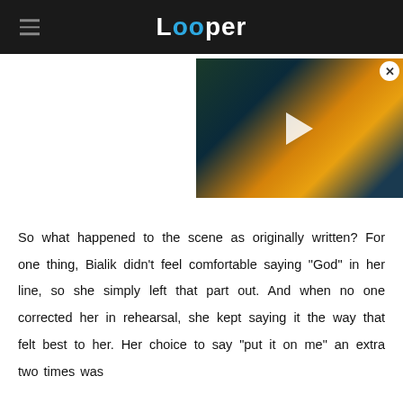Looper
[Figure (screenshot): Video player thumbnail showing a dark scene with warm orange/yellow flame light and blue tones, with a white play button triangle in the center. A close (X) button is visible in the top-right corner.]
So what happened to the scene as originally written? For one thing, Bialik didn't feel comfortable saying "God" in her line, so she simply left that part out. And when no one corrected her in rehearsal, she kept saying it the way that felt best to her. Her choice to say "put it on me" an extra two times was